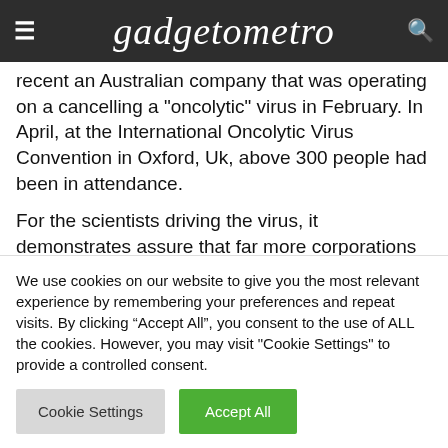gadgetometro
recent an Australian company that was operating on a can... killing an "oncolytic" virus in February. In April, at the International Oncolytic Virus Convention in Oxford, Uk, above 300 people had been in attendance.
For the scientists driving the virus, it demonstrates assure that far more corporations are beginning to support the idea that could most likely save lives. The...
We use cookies on our website to give you the most relevant experience by remembering your preferences and repeat visits. By clicking “Accept All”, you consent to the use of ALL the cookies. However, you may visit "Cookie Settings" to provide a controlled consent.